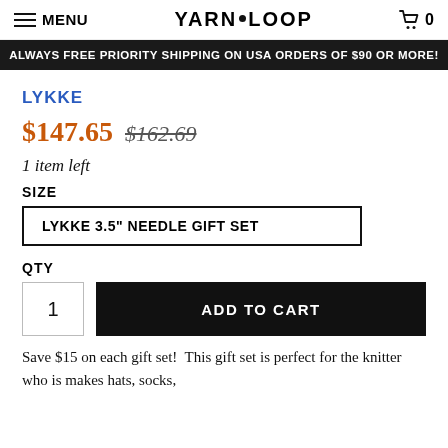YARN LOOP — MENU, cart 0
ALWAYS FREE PRIORITY SHIPPING ON USA ORDERS OF $90 OR MORE!
LYKKE
$147.65  $162.69
1 item left
SIZE
LYKKE 3.5" NEEDLE GIFT SET
QTY
1  ADD TO CART
Save $15 on each gift set!  This gift set is perfect for the knitter who is makes hats, socks,